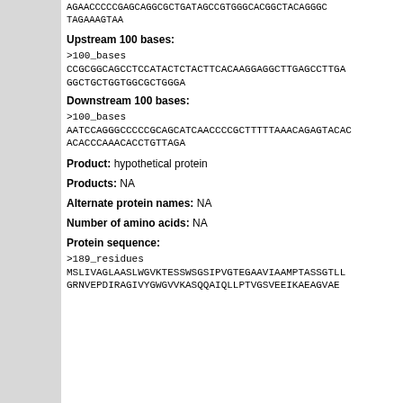AGAACCCCCGAGCAGGCGCTGATAGCCGTGGGCACGGCTACAGGGC TAGAAAGTAA
Upstream 100 bases:
>100_bases
CCGCGGCAGCCTCCATACTCTACTTCACAAAGGAGGCTTGAGCCTTGA
GGCTGCTGGTGGCGCTGGGA
Downstream 100 bases:
>100_bases
AATCCAGGGCCCCCGCAGCATCAACCCCGCTTTTAAACGAGAGTACAC
ACACCCAAACACCTGTTAGA
Product: hypothetical protein
Products: NA
Alternate protein names: NA
Number of amino acids: NA
Protein sequence:
>189_residues
MSLIVAGLAASLWGVKTESSWSGSIPVGTEGAAVIAAMPTASSGTLL
GRNVEPDIRAGIVYGWGVVKASQQAIQLLPTVGSVEEIKAEAGVAE